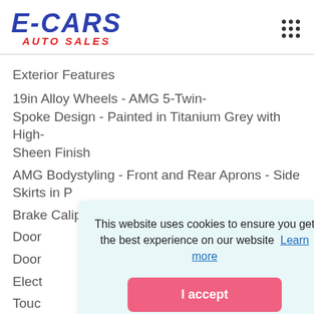[Figure (logo): E-CARS AUTO SALES logo in blue and red italic letters]
Exterior Features
19in Alloy Wheels - AMG 5-Twin-Spoke Design - Painted in Titanium Grey with High-Sheen Finish
AMG Bodystyling - Front and Rear Aprons - Side Skirts in P
Brake Calipers with Mercedes-Benz Lettering
Door
Door
Elect
Touc
Pipe Integrated into the Bumper
This website uses cookies to ensure you get the best experience on our website  Learn more
I accept